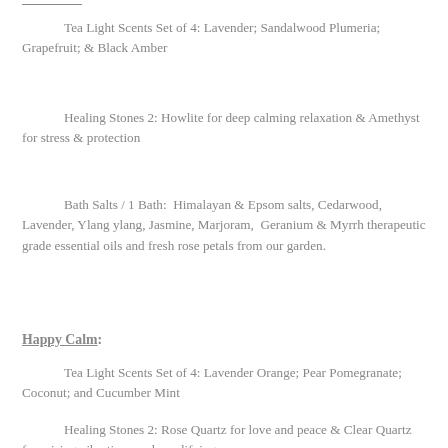Tea Light Scents Set of 4: Lavender; Sandalwood Plumeria; Grapefruit; & Black Amber
Healing Stones 2: Howlite for deep calming relaxation & Amethyst for stress & protection
Bath Salts / 1 Bath:  Himalayan & Epsom salts, Cedarwood, Lavender, Ylang ylang, Jasmine, Marjoram,  Geranium & Myrrh therapeutic grade essential oils and fresh rose petals from our garden.
Happy Calm:
Tea Light Scents Set of 4: Lavender Orange; Pear Pomegranate; Coconut; and Cucumber Mint
Healing Stones 2: Rose Quartz for love and peace & Clear Quartz for raising vibrations and amplifying